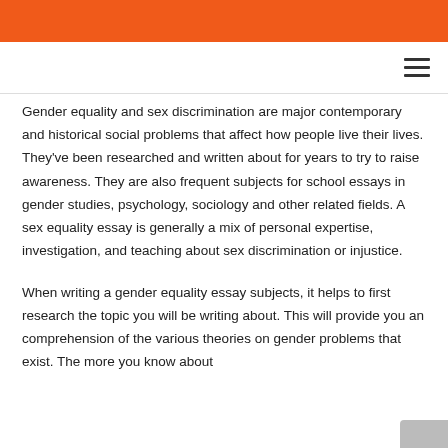Gender equality and sex discrimination are major contemporary and historical social problems that affect how people live their lives. They've been researched and written about for years to try to raise awareness. They are also frequent subjects for school essays in gender studies, psychology, sociology and other related fields. A sex equality essay is generally a mix of personal expertise, investigation, and teaching about sex discrimination or injustice.
When writing a gender equality essay subjects, it helps to first research the topic you will be writing about. This will provide you an comprehension of the various theories on gender problems that exist. The more you know about